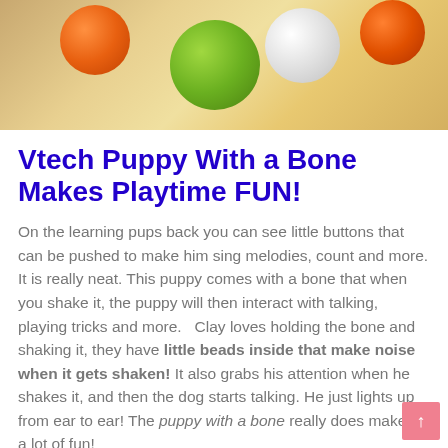[Figure (photo): Colorful plastic balls (green, orange, white) on a tan/beige surface, likely a toy product photo]
Vtech Puppy With a Bone Makes Playtime FUN!
On the learning pups back you can see little buttons that can be pushed to make him sing melodies, count and more. It is really neat. This puppy comes with a bone that when you shake it, the puppy will then interact with talking, playing tricks and more.   Clay loves holding the bone and shaking it, they have little beads inside that make noise when it gets shaken! It also grabs his attention when he shakes it, and then the dog starts talking. He just lights up from ear to ear! The puppy with a bone really does make it a lot of fun!